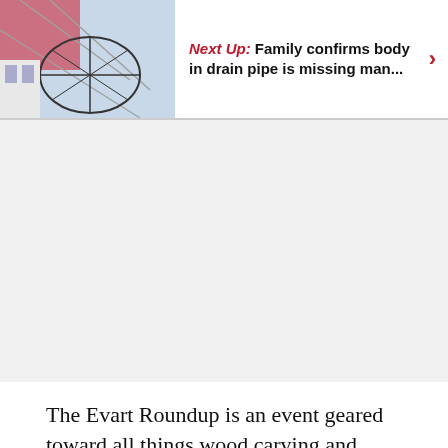[Figure (photo): Thumbnail image of a structure (appears to be a dome or cage-like frame) with ropes or cables, against a light background. Used as a 'Next Up' article thumbnail.]
Next Up: Family confirms body in drain pipe is missing man...
[Figure (other): Gray advertisement/placeholder area in the middle of the page.]
The Evart Roundup is an event geared toward all things wood carving and provides a multitude of informational workshops for attendees who want to grow in the craft, meet